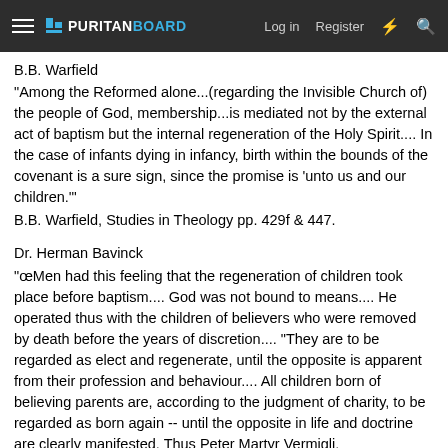≡ PURITANBOARD  Log in  Register
B.B. Warfield
"Among the Reformed alone...(regarding the Invisible Church of) the people of God, membership...is mediated not by the external act of baptism but the internal regeneration of the Holy Spirit.... In the case of infants dying in infancy, birth within the bounds of the covenant is a sure sign, since the promise is 'unto us and our children.'"
B.B. Warfield, Studies in Theology pp. 429f & 447.
Dr. Herman Bavinck
"œMen had this feeling that the regeneration of children took place before baptism.... God was not bound to means.... He operated thus with the children of believers who were removed by death before the years of discretion.... "They are to be regarded as elect and regenerate, until the opposite is apparent from their profession and behaviour.... All children born of believing parents are, according to the judgment of charity, to be regarded as born again -- until the opposite in life and doctrine are clearly manifested. Thus Peter Martyr Vermigli,